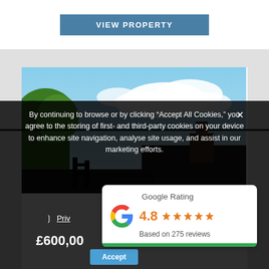VIEW PROPERTY
[Figure (photo): Outdoor property photo showing trees, sky with clouds, and a building/thatched roof structure]
By continuing to browse or by clicking “Accept All Cookies,” you agree to the storing of first- and third-party cookies on your device to enhance site navigation, analyse site usage, and assist in our marketing efforts.
› Priv…
[Figure (other): Google Rating widget showing 4.8 stars based on 275 reviews with Google logo]
£600,00…